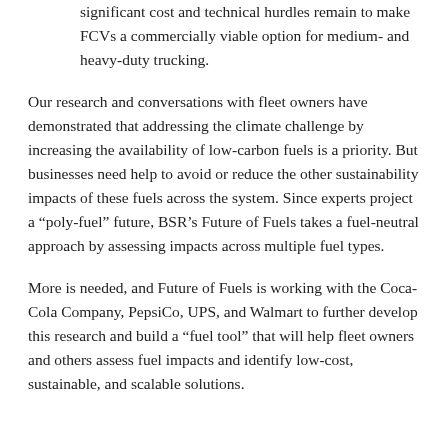significant cost and technical hurdles remain to make FCVs a commercially viable option for medium- and heavy-duty trucking.
Our research and conversations with fleet owners have demonstrated that addressing the climate challenge by increasing the availability of low-carbon fuels is a priority. But businesses need help to avoid or reduce the other sustainability impacts of these fuels across the system. Since experts project a “poly-fuel” future, BSR’s Future of Fuels takes a fuel-neutral approach by assessing impacts across multiple fuel types.
More is needed, and Future of Fuels is working with the Coca-Cola Company, PepsiCo, UPS, and Walmart to further develop this research and build a “fuel tool” that will help fleet owners and others assess fuel impacts and identify low-cost, sustainable, and scalable solutions.